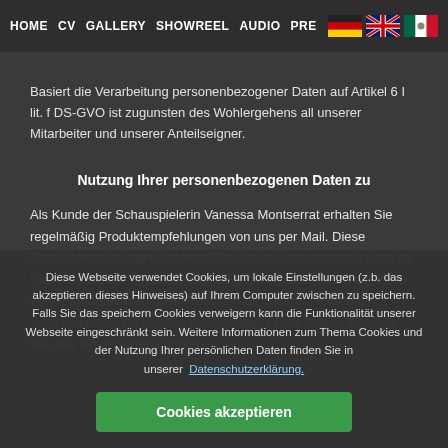HOME   CV   GALLERY   SHOWREEL   AUDIO   PRE [DE flag] [UK flag] [MX flag]
Basiert die Verarbeitung personenbezogener Daten auf Artikel 6 I lit. f DS-GVO ist zugunsten des Wohlergehens all unserer Mitarbeiter und unserer Anteilseigner.
Nutzung Ihrer personenbezogenen Daten zu
Als Kunde der Schauspielerin Vanessa Montserrat erhalten Sie regelmäßig Produktempfehlungen von uns per Mail. Diese Produktempfehlungen erhalten Sie von uns unabhängig davon, ob Sie einen Newsletter abonniert haben. Wir wollen Ihnen auf diese Weise Informationen über Produkte aus unserem Angebot zukommen lassen, die Sie, auf Grundlage Ihrer letzten Einkäufe bei uns, interessieren könnten.
Diese Webseite verwendet Cookies, um lokale Einstellungen (z.b. das akzeptieren dieses Hinweises) auf Ihrem Computer zwischen zu speichern. Falls Sie das speichern Cookies verweigern kann die Funktionalität unserer Webseite eingeschränkt sein. Weitere Informationen zum Thema Cookies und der Nutzung Ihrer persönlichen Daten finden Sie in unserer Datenschutzerklärung.
Cookies akzeptieren